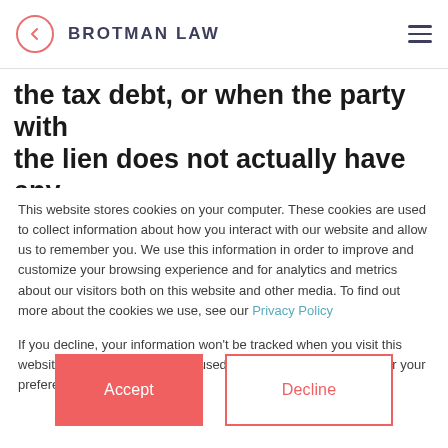BROTMAN LAW
the tax debt, or when the party with the lien does not actually have any
This website stores cookies on your computer. These cookies are used to collect information about how you interact with our website and allow us to remember you. We use this information in order to improve and customize your browsing experience and for analytics and metrics about our visitors both on this website and other media. To find out more about the cookies we use, see our Privacy Policy
If you decline, your information won't be tracked when you visit this website. A single cookie will be used in your browser to remember your preference not to be tracked.